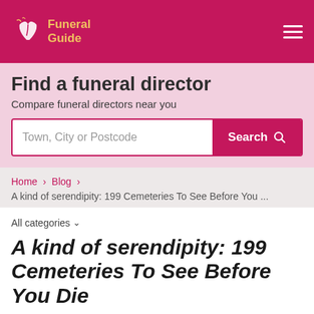Funeral Guide
Find a funeral director
Compare funeral directors near you
Town, City or Postcode  Search
Home > Blog > A kind of serendipity: 199 Cemeteries To See Before You ...
All categories
A kind of serendipity: 199 Cemeteries To See Before You Die